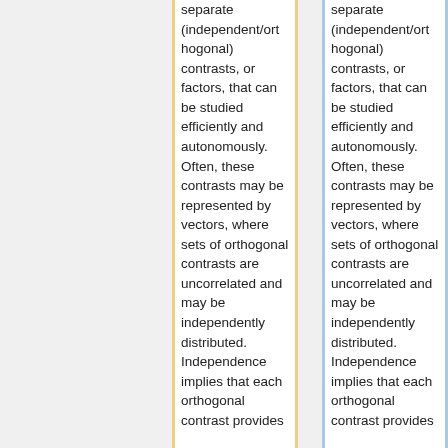separate (independent/orthogonal) contrasts, or factors, that can be studied efficiently and autonomously. Often, these contrasts may be represented by vectors, where sets of orthogonal contrasts are uncorrelated and may be independently distributed. Independence implies that each orthogonal contrast provides
separate (independent/orthogonal) contrasts, or factors, that can be studied efficiently and autonomously. Often, these contrasts may be represented by vectors, where sets of orthogonal contrasts are uncorrelated and may be independently distributed. Independence implies that each orthogonal contrast provides